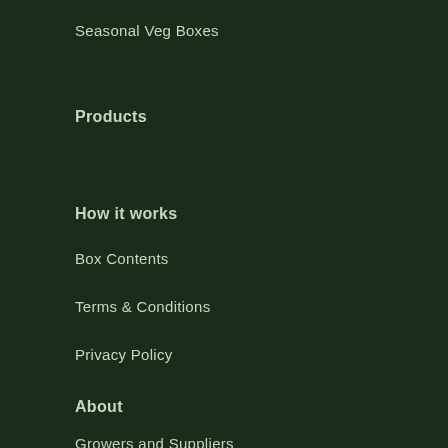Seasonal Veg Boxes
Products
How it works
Box Contents
Terms & Conditions
Privacy Policy
About
Growers and Suppliers